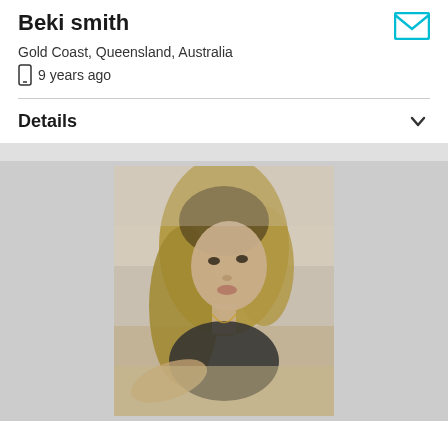Beki smith
Gold Coast, Queensland, Australia
9 years ago
Details
[Figure (photo): Black and white / sepia-toned photo of a blonde woman with long hair posing on a beach, leaning forward toward the camera.]